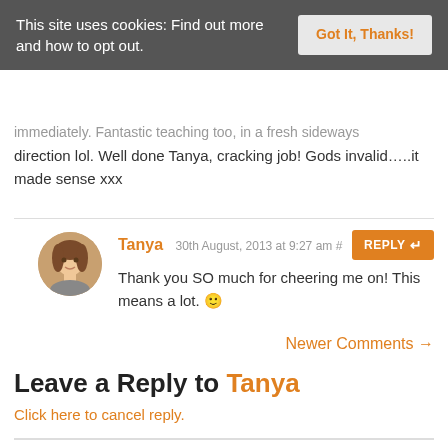This site uses cookies: Find out more and how to opt out.
immediately. Fantastic teaching too, in a fresh sideways direction lol. Well done Tanya, cracking job! Gods invalid.....it made sense xxx
Tanya 30th August, 2013 at 9:27 am #
Thank you SO much for cheering me on! This means a lot. 🙂
Newer Comments →
Leave a Reply to Tanya
Click here to cancel reply.